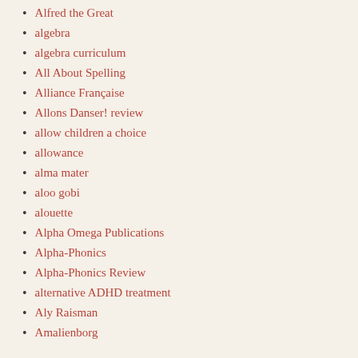Alfred the Great
algebra
algebra curriculum
All About Spelling
Alliance Française
Allons Danser! review
allow children a choice
allowance
alma mater
aloo gobi
alouette
Alpha Omega Publications
Alpha-Phonics
Alpha-Phonics Review
alternative ADHD treatment
Aly Raisman
Amalienborg